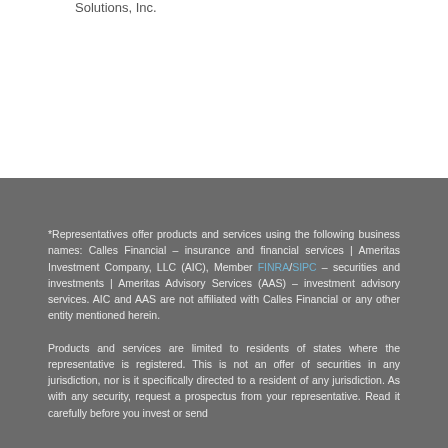Solutions, Inc.
*Representatives offer products and services using the following business names: Calles Financial – insurance and financial services | Ameritas Investment Company, LLC (AIC), Member FINRA/SIPC – securities and investments | Ameritas Advisory Services (AAS) – investment advisory services. AIC and AAS are not affiliated with Calles Financial or any other entity mentioned herein.
Products and services are limited to residents of states where the representative is registered. This is not an offer of securities in any jurisdiction, nor is it specifically directed to a resident of any jurisdiction. As with any security, request a prospectus from your representative. Read it carefully before you invest or send